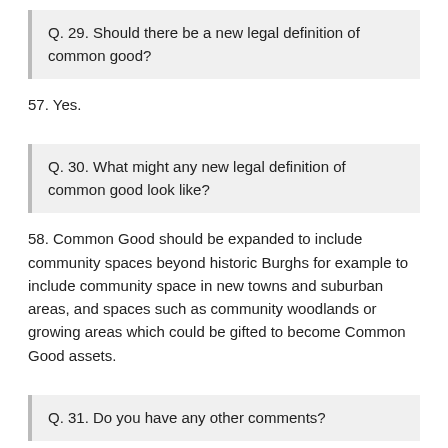Q. 29. Should there be a new legal definition of common good?
57. Yes.
Q. 30. What might any new legal definition of common good look like?
58. Common Good should be expanded to include community spaces beyond historic Burghs for example to include community space in new towns and suburban areas, and spaces such as community woodlands or growing areas which could be gifted to become Common Good assets.
Q. 31. Do you have any other comments?
59. It is up to all to demonstrate commitment to effectively